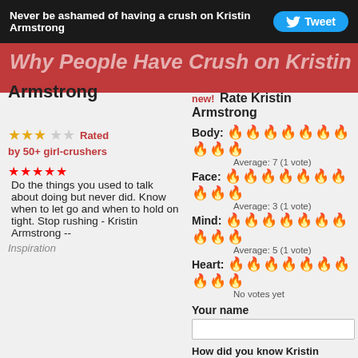Never be ashamed of having a crush on Kristin Armstrong  Tweet
Why People Have a Crush on Kristin Armstrong
Rated by 50+ girl-crushers
Do the things you used to talk about doing but never did. Know when to let go and when to hold on tight. Stop rushing - Kristin Armstrong -- Inspiration
new! Rate Kristin Armstrong
Body: 🔥🔥🔥🔥🔥🔥🔥🔥🔥🔥 Average: 7 (1 vote)
Face: 🔥🔥🔥🔥🔥🔥🔥🔥🔥🔥 Average: 3 (1 vote)
Mind: 🔥🔥🔥🔥🔥🔥🔥🔥🔥🔥 Average: 5 (1 vote)
Heart: 🔥🔥🔥🔥🔥🔥🔥🔥🔥🔥 No votes yet
Your name
How did you know Kristin Armstrong & Why do you have a crush on her? * I know Kristin Armstrong from...